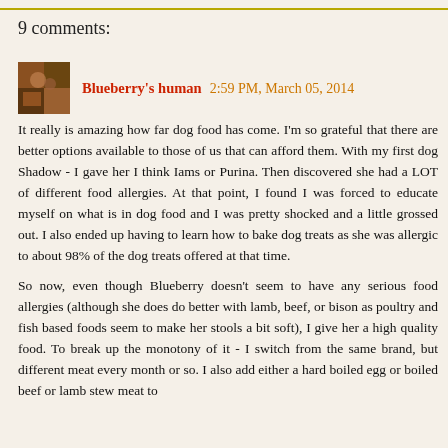9 comments:
Blueberry's human 2:59 PM, March 05, 2014
It really is amazing how far dog food has come. I'm so grateful that there are better options available to those of us that can afford them. With my first dog Shadow - I gave her I think Iams or Purina. Then discovered she had a LOT of different food allergies. At that point, I found I was forced to educate myself on what is in dog food and I was pretty shocked and a little grossed out. I also ended up having to learn how to bake dog treats as she was allergic to about 98% of the dog treats offered at that time.
So now, even though Blueberry doesn't seem to have any serious food allergies (although she does do better with lamb, beef, or bison as poultry and fish based foods seem to make her stools a bit soft), I give her a high quality food. To break up the monotony of it - I switch from the same brand, but different meat every month or so. I also add either a hard boiled egg or boiled beef or lamb stew meat to